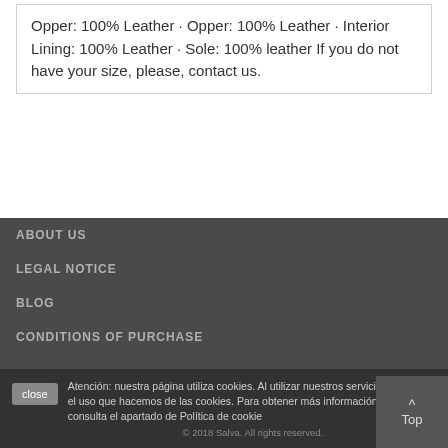Opper: 100% Leather · Opper: 100% Leather · Interior Lining: 100% Leather · Sole: 100% leather If you do not have your size, please, contact us.
ABOUT US
LEGAL NOTICE
BLOG
CONDITIONS OF PURCHASE
Atención: nuestra página utiliza cookies. Al utilizar nuestros servicios, aceptas el uso que hacemos de las cookies. Para obtener más información sobre d consulta el apartado de Política de cookie
© 2018 Salva. All rights reserved.